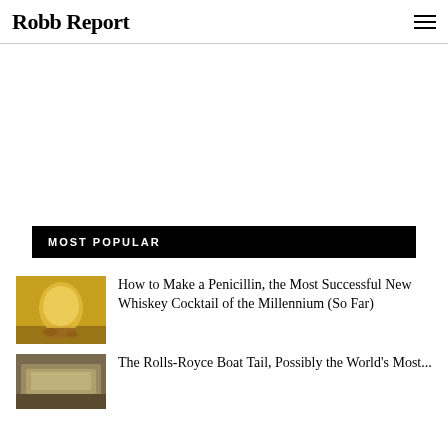Robb Report
MOST POPULAR
[Figure (photo): Thumbnail of a yellow/golden whiskey cocktail drink in a glass with ice and garnish on a wooden surface]
How to Make a Penicillin, the Most Successful New Whiskey Cocktail of the Millennium (So Far)
[Figure (photo): Thumbnail of the Rolls-Royce Boat Tail automobile]
The Rolls-Royce Boat Tail, Possibly the World's Most...